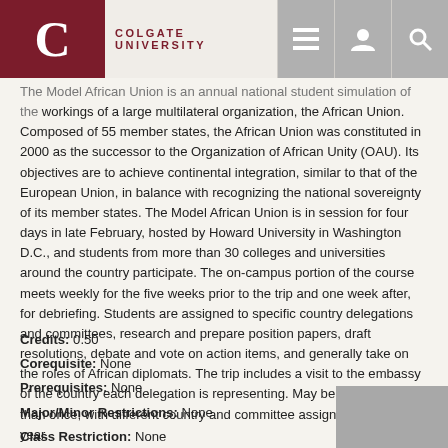COLGATE UNIVERSITY
The Model African Union is an annual national student simulation of the workings of a large multilateral organization, the African Union. Composed of 55 member states, the African Union was constituted in 2000 as the successor to the Organization of African Unity (OAU). Its objectives are to achieve continental integration, similar to that of the European Union, in balance with recognizing the national sovereignty of its member states. The Model African Union is in session for four days in late February, hosted by Howard University in Washington D.C., and students from more than 30 colleges and universities around the country participate. The on-campus portion of the course meets weekly for the five weeks prior to the trip and one week after, for debriefing. Students are assigned to specific country delegations and committees, research and prepare position papers, draft resolutions, debate and vote on action items, and generally take on the roles of African diplomats. The trip includes a visit to the embassy of the country each delegation is representing. May be taken more than once, with different country and committee assignments each year.
Credits: 0.50
Corequisite: None
Prerequisites: None
Major/Minor Restrictions: None
Class Restriction: None
Area of Inquiry: None